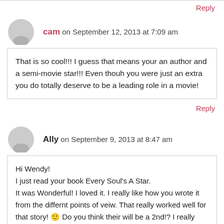Reply
cam on September 12, 2013 at 7:09 am
That is so cool!!! I guess that means your an author and a semi-movie star!!! Even thouh you were just an extra you do totally deserve to be a leading role in a movie!
Reply
Ally on September 9, 2013 at 8:47 am
Hi Wendy!
I just read your book Every Soul's A Star.
It was Wonderful! I loved it. I really like how you wrote it from the differnt points of veiw. That really worked well for that story! 🙂 Do you think their will be a 2nd!? I really